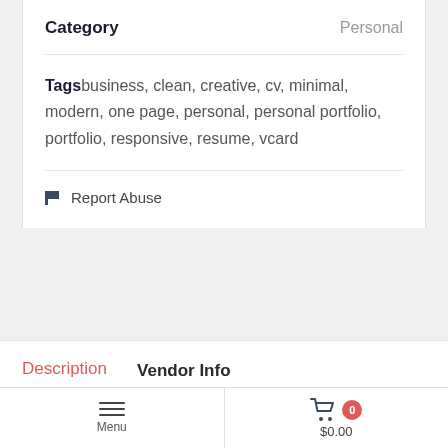Category — Personal
Tags: business, clean, creative, cv, minimal, modern, one page, personal, personal portfolio, portfolio, responsive, resume, vcard
🏴 Report Abuse
Description
Vendor Info
More Products
Menu | $0.00